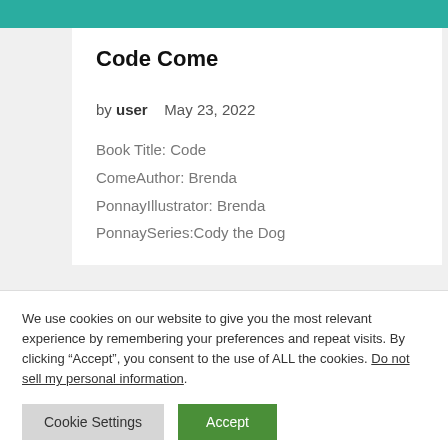Code Come
by user   May 23, 2022
Book Title: Code ComeAuthor: Brenda PonnayIllustrator: Brenda PonnaySeries:Cody the Dog
We use cookies on our website to give you the most relevant experience by remembering your preferences and repeat visits. By clicking “Accept”, you consent to the use of ALL the cookies. Do not sell my personal information.
Cookie Settings    Accept